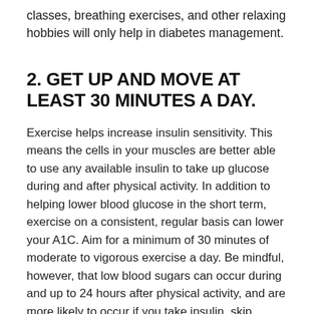classes, breathing exercises, and other relaxing hobbies will only help in diabetes management.
2. GET UP AND MOVE AT LEAST 30 MINUTES A DAY.
Exercise helps increase insulin sensitivity. This means the cells in your muscles are better able to use any available insulin to take up glucose during and after physical activity. In addition to helping lower blood glucose in the short term, exercise on a consistent, regular basis can lower your A1C. Aim for a minimum of 30 minutes of moderate to vigorous exercise a day. Be mindful, however, that low blood sugars can occur during and up to 24 hours after physical activity, and are more likely to occur if you take insulin, skip meals, or exercise intensely or for a long period of time.